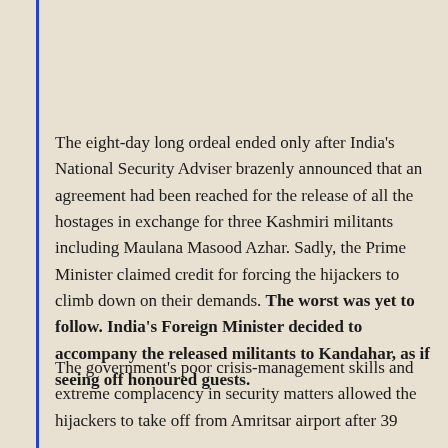The eight-day long ordeal ended only after India's National Security Adviser brazenly announced that an agreement had been reached for the release of all the hostages in exchange for three Kashmiri militants including Maulana Masood Azhar. Sadly, the Prime Minister claimed credit for forcing the hijackers to climb down on their demands. The worst was yet to follow. India's Foreign Minister decided to accompany the released militants to Kandahar, as if seeing off honoured guests.
The government's poor crisis-management skills and extreme complacency in security matters allowed the hijackers to take off from Amritsar airport after 39 minutes, halt from refueling, then later letting the world...